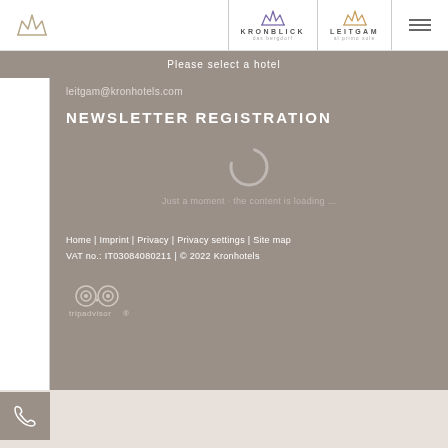Kronhotels header with Kronblick and Leitgam logos and navigation
Please select a hotel
leitgam@kronhotels.com
NEWSLETTER REGISTRATION
[Figure (illustration): Loading spinner icon]
Just a moment · the content is loading ...
Home | Imprint | Privacy | Privacy settings | Site map
VAT no.: IT03084080211 | © 2022 Kronhotels
[Figure (logo): TripAdvisor logo with owl icon]
[Figure (logo): Phone contact button]